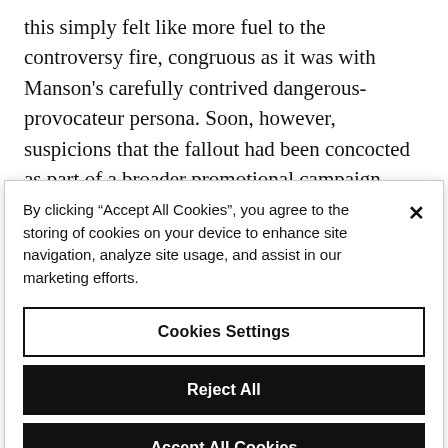this simply felt like more fuel to the controversy fire, congruous as it was with Manson's carefully contrived dangerous-provocateur persona. Soon, however, suspicions that the fallout had been concocted as part of a broader promotional campaign began to dwindle.
By clicking “Accept All Cookies”, you agree to the storing of cookies on your device to enhance site navigation, analyze site usage, and assist in our marketing efforts.
Cookies Settings
Reject All
Accept All Cookies